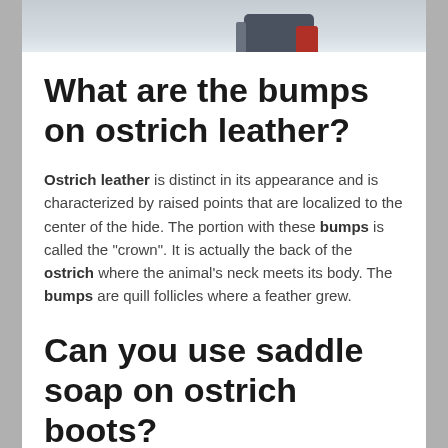[Figure (photo): Partial photo showing what appears to be an ostrich or similar animal, cropped at top of page]
What are the bumps on ostrich leather?
Ostrich leather is distinct in its appearance and is characterized by raised points that are localized to the center of the hide. The portion with these bumps is called the “crown”. It is actually the back of the ostrich where the animal’s neck meets its body. The bumps are quill follicles where a feather grew.
Can you use saddle soap on ostrich boots?